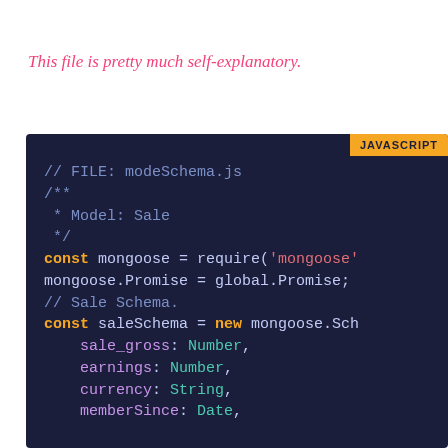This file is pretty much self-explanatory.
[Figure (screenshot): JavaScript code block showing modeSchema.js file with mongoose model definition for Sale schema, including fields: sale_gross (Number), earnings (Number), currency (String), memberSince (Date)]